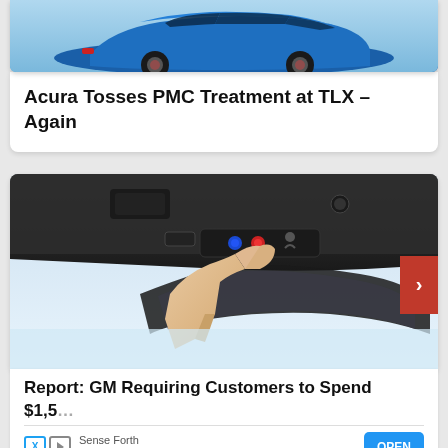[Figure (photo): Blue sports car (Acura TLX) photographed from rear three-quarter angle on grey background, top portion visible]
Acura Tosses PMC Treatment at TLX – Again
[Figure (photo): Interior overhead view of a car showing ceiling controls/buttons with a hand pointing at an OnStar-style button panel; rearview mirror visible; red navigation arrow on right edge]
Report: GM Requiring Customers to Spend $1,5…
Sense Forth
Make an impact with insights.
OPEN